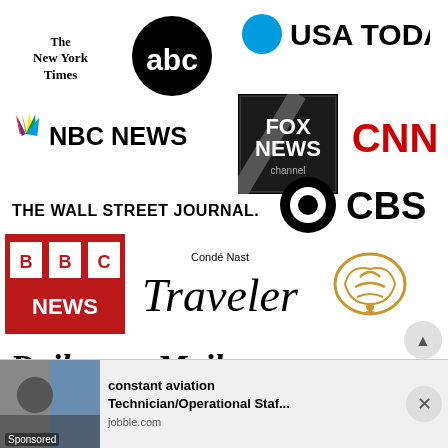[Figure (logo): Collection of media logos: The New York Times, ABC, USA TODAY, NBC News, Fox News Channel, CNN, The Wall Street Journal, CBS, BBC News, Condé Nast Traveler, Al Jazeera, Daily Mail, Toronto Star, and others]
constant aviation Technician/Operational Staf...
Sponsored · jobble.com